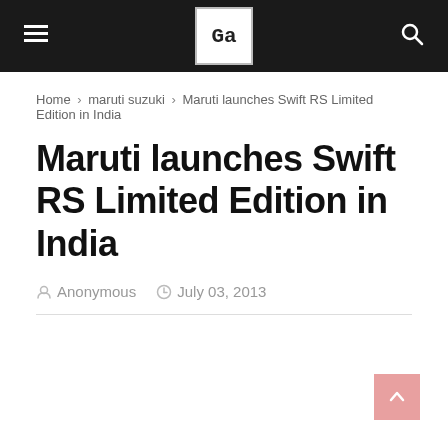≡  [logo]  🔍
Home › maruti suzuki › Maruti launches Swift RS Limited Edition in India
Maruti launches Swift RS Limited Edition in India
Anonymous   July 03, 2013